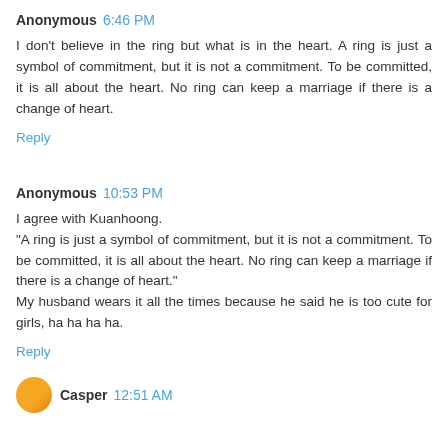Anonymous 6:46 PM
I don't believe in the ring but what is in the heart. A ring is just a symbol of commitment, but it is not a commitment. To be committed, it is all about the heart. No ring can keep a marriage if there is a change of heart.
Reply
Anonymous 10:53 PM
I agree with Kuanhoong.
"A ring is just a symbol of commitment, but it is not a commitment. To be committed, it is all about the heart. No ring can keep a marriage if there is a change of heart."
My husband wears it all the times because he said he is too cute for girls, ha ha ha ha.
Reply
Casper 12:51 AM